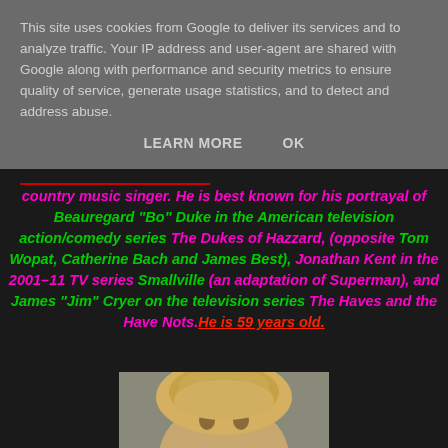This site uses cookies from Google to deliver its services and to analyze traffic. Your IP address and user-agent are shared with Google along with performance and security metrics to ensure quality of service, generate usage statistics, and to detect and address abuse.
LEARN MORE    OK
country music singer. He is best known for his portrayal of Beauregard "Bo" Duke in the American television action/comedy series The Dukes of Hazzard, (opposite Tom Wopat, Catherine Bach and James Best), Jonathan Kent in the 2001–11 TV series Smallville (an adaptation of Superman), and James "Jim" Cryer on the television series The Haves and the Have Nots. He is 59 years old.
[Figure (photo): Photo of a blonde man, cropped to show face and top of head, against a light background]